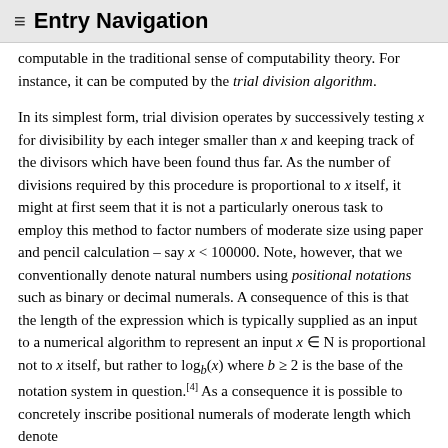≡ Entry Navigation
computable in the traditional sense of computability theory. For instance, it can be computed by the trial division algorithm.
In its simplest form, trial division operates by successively testing x for divisibility by each integer smaller than x and keeping track of the divisors which have been found thus far. As the number of divisions required by this procedure is proportional to x itself, it might at first seem that it is not a particularly onerous task to employ this method to factor numbers of moderate size using paper and pencil calculation – say x < 100000. Note, however, that we conventionally denote natural numbers using positional notations such as binary or decimal numerals. A consequence of this is that the length of the expression which is typically supplied as an input to a numerical algorithm to represent an input x ∈ N is proportional not to x itself, but rather to log_b(x) where b ≥ 2 is the base of the notation system in question.[4] As a consequence it is possible to concretely inscribe positional numerals of moderate length which denote